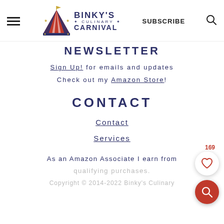Binky's Culinary Carnival | SUBSCRIBE
NEWSLETTER
Sign Up! for emails and updates
Check out my Amazon Store!
CONTACT
Contact
Services
As an Amazon Associate I earn from qualifying purchases.
Copyright © 2014-2022 Binky's Culinary